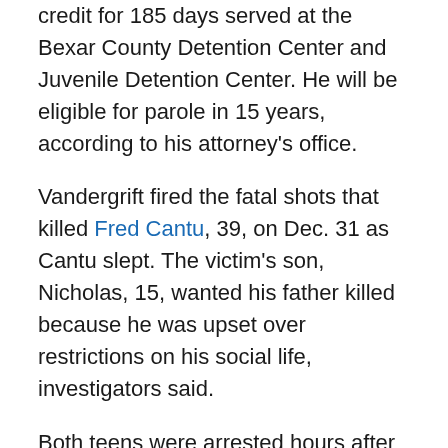credit for 185 days served at the Bexar County Detention Center and Juvenile Detention Center. He will be eligible for parole in 15 years, according to his attorney's office.
Vandergrift fired the fatal shots that killed Fred Cantu, 39, on Dec. 31 as Cantu slept. The victim's son, Nicholas, 15, wanted his father killed because he was upset over restrictions on his social life, investigators said.
Both teens were arrested hours after the shooting and confessed to planning the murder over several months.
Their plea agreements came after Vandergrift and Cantu were certified to stand trial as adults, making them eligible for sentences of up to life in prison. Last month, Nicholas Cantu was sentenced to 30 years.
Vandergrift's father said nothing as sheriff's deputies